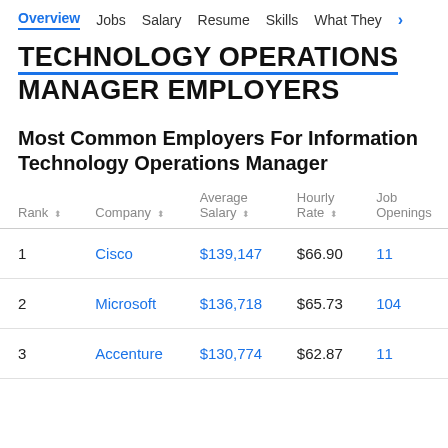Overview  Jobs  Salary  Resume  Skills  What They >
TECHNOLOGY OPERATIONS MANAGER EMPLOYERS
Most Common Employers For Information Technology Operations Manager
| Rank | Company | Average Salary | Hourly Rate | Job Openings |
| --- | --- | --- | --- | --- |
| 1 | Cisco | $139,147 | $66.90 | 11 |
| 2 | Microsoft | $136,718 | $65.73 | 104 |
| 3 | Accenture | $130,774 | $62.87 | 11 |